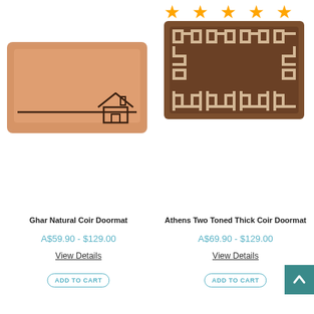[Figure (other): Five orange star rating icons in a row]
[Figure (illustration): Ghar Natural Coir Doormat - plain tan/beige coir mat with a simple house outline drawing and horizontal line near the bottom right]
[Figure (illustration): Athens Two Toned Thick Coir Doormat - brown coir mat with decorative Greek key / meander border pattern in beige]
Ghar Natural Coir Doormat
A$59.90 - $129.00
View Details
ADD TO CART
Athens Two Toned Thick Coir Doormat
A$69.90 - $129.00
View Details
ADD TO CART